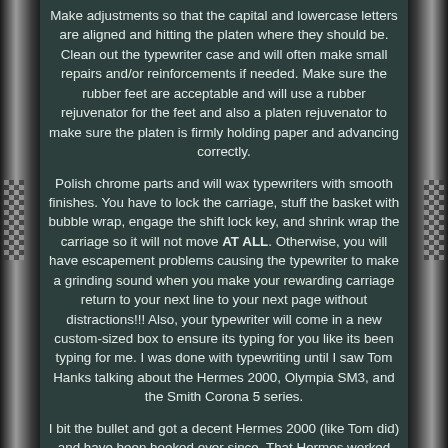Make adjustments so that the capital and lowercase letters are aligned and hitting the platen where they should be. Clean out the typewriter case and will often make small repairs and/or reinforcements if needed. Make sure the rubber feet are acceptable and will use a rubber rejuvenator for the feet and also a platen rejuvenator to make sure the platen is firmly holding paper and advancing correctly.
Polish chrome parts and will wax typewriters with smooth finishes. You have to lock the carriage, stuff the basket with bubble wrap, engage the shift lock key, and shrink wrap the carriage so it will not move AT ALL. Otherwise, you will have escapement problems causing the typewriter to make a grinding sound when you make your rewarding carriage return to your next line to your next page without distractions!!! Also, your typewriter will come in a new custom-sized box to ensure its typing for you like its been typing for me. I was done with typewriting until I saw Tom Hanks talking about the Hermes 2000, Olympia SM3, and the Smith Corona 5 series.
I bit the bullet and got a decent Hermes 2000 (like Tom did) and have been hooked ever since. That Hermes worked great, and I got a Smith Corona 5 series Sterling that worked okay but required more finger strength to get a mark. However, if you plan on using your typewriter, I